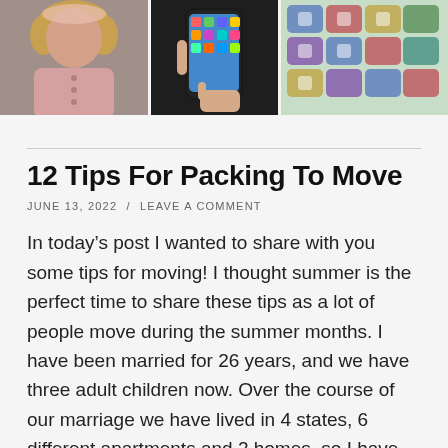[Figure (photo): A collage of three photos: a young woman with curly hair in a pink top, a person holding a smartphone with apps visible on screen, and a grid of colorful app icons on a phone screen.]
12 Tips For Packing To Move
JUNE 13, 2022 / LEAVE A COMMENT
In today’s post I wanted to share with you some tips for moving! I thought summer is the perfect time to share these tips as a lot of people move during the summer months. I have been married for 26 years, and we have three adult children now. Over the course of our marriage we have lived in 4 states, 6 different apartments and 2 homes, so I have experience with